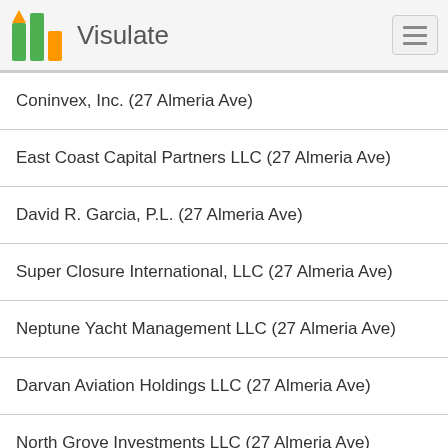Visulate
Coninvex, Inc. (27 Almeria Ave)
East Coast Capital Partners LLC (27 Almeria Ave)
David R. Garcia, P.L. (27 Almeria Ave)
Super Closure International, LLC (27 Almeria Ave)
Neptune Yacht Management LLC (27 Almeria Ave)
Darvan Aviation Holdings LLC (27 Almeria Ave)
North Grove Investments LLC (27 Almeria Ave)
Sflc Investments LLC (27 Almeria Ave)
Euclid Aviation Inc (27 Almeria Ave)
Vb Development Inc. (27 Almeria Ave)